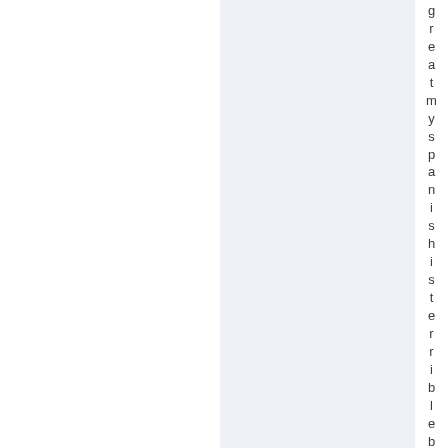greatmyspanishisterriblebut ihad